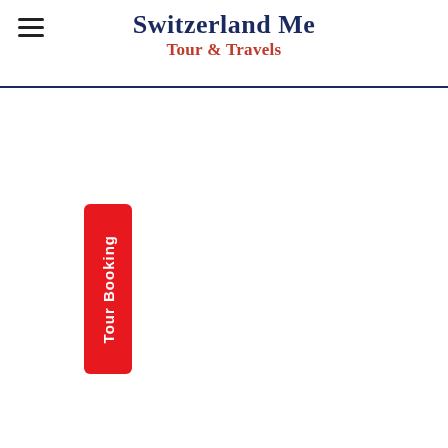Switzerland Me Tour & Travels
[Figure (other): Tour Booking vertical red button with white text]